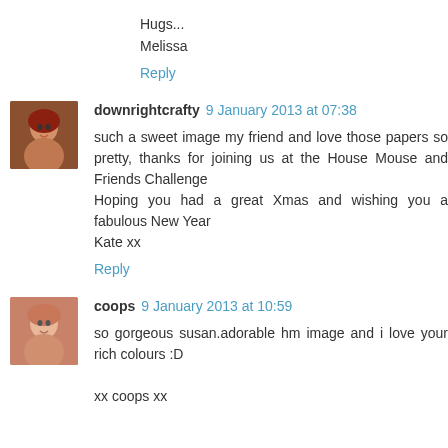Hugs...
Melissa
Reply
downrightcrafty 9 January 2013 at 07:38
such a sweet image my friend and love those papers so pretty, thanks for joining us at the House Mouse and Friends Challenge
Hoping you had a great Xmas and wishing you a fabulous New Year
Kate xx
Reply
coops 9 January 2013 at 10:59
so gorgeous susan.adorable hm image and i love your rich colours :D

xx coops xx